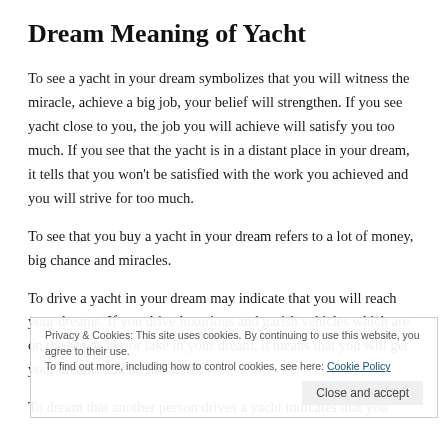Dream Meaning of Yacht
To see a yacht in your dream symbolizes that you will witness the miracle, achieve a big job, your belief will strengthen. If you see yacht close to you, the job you will achieve will satisfy you too much. If you see that the yacht is in a distant place in your dream, it tells that you won't be satisfied with the work you achieved and you will strive for too much.
To see that you buy a yacht in your dream refers to a lot of money, big chance and miracles.
To drive a yacht in your dream may indicate that you will reach your dreams. If you drive luxurious and garish vehicles which are on the sea, water or lake in your dream, it means that you will get your dreams and be satisfied.
To dream that another person drives a yacht indicates that you
Privacy & Cookies: This site uses cookies. By continuing to use this website, you agree to their use. To find out more, including how to control cookies, see here: Cookie Policy
Close and accept